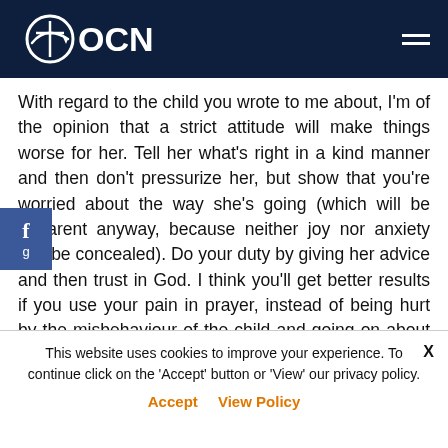OCN
With regard to the child you wrote to me about, I'm of the opinion that a strict attitude will make things worse for her. Tell her what's right in a kind manner and then don't pressurize her, but show that you're worried about the way she's going (which will be apparent anyway, because neither joy nor anxiety can be concealed). Do your duty by giving her advice and then trust in God. I think you'll get better results if you use your pain in prayer, instead of being hurt by the misbehaviour of the child and going on about it, because at the moment she's in turmoil because of the flesh and she's under the influence of the evil one, since
This website uses cookies to improve your experience. To continue click on the 'Accept' button or 'View' our privacy policy.